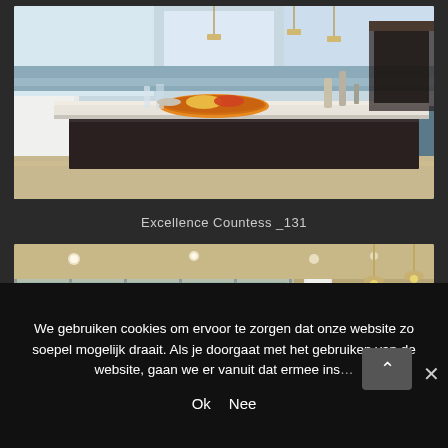[Figure (photo): Interior photo of a modern ship dining area kitchen island with dark cabinetry, white marble countertop with food platters and bottles, large windows with water view in the background]
Excellence Countess _131
[Figure (photo): Interior photo of a modern ship lounge or restaurant area with glass walls, white columns, pendant lights, and decorative sculptures visible]
We gebruiken cookies om ervoor te zorgen dat onze website zo soepel mogelijk draait. Als je doorgaat met het gebruiken van de website, gaan we er vanuit dat ermee ins...
Ok  Nee